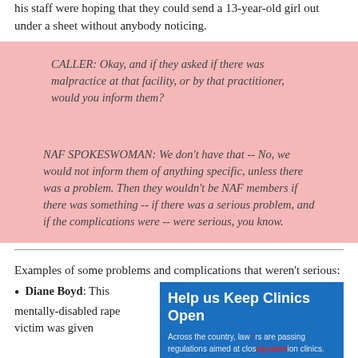his staff were hoping that they could send a 13-year-old girl out under a sheet without anybody noticing.
CALLER: Okay, and if they asked if there was malpractice at that facility, or by that practitioner, would you inform them?
NAF SPOKESWOMAN: We don't have that -- No, we would not inform them of anything specific, unless there was a problem. Then they wouldn't be NAF members if there was something -- if there was a serious problem, and if the complications were -- were serious, you know.
Examples of some problems and complications that weren't serious:
Diane Boyd: This mentally-disabled rape victim was given
[Figure (other): Advertisement banner: 'Help us Keep Clinics Open' with text about lawmakers passing regulations aimed at closing abortion clinics, and NAF represents the dedicated...]